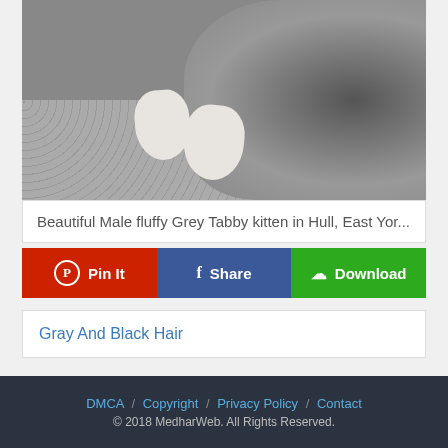[Figure (photo): Close-up photo of a grey and white tabby kitten, showing its body and white paws resting on a grey carpet/rug. The cat is viewed from the side with its head facing down-left.]
Beautiful Male fluffy Grey Tabby kitten in Hull, East Yor...
Pin It   Share   Download
Gray And Black Hair
DMCA / Copyright / Privacy Policy / Contact
© 2018 MedharWeb. All Rights Reserved.